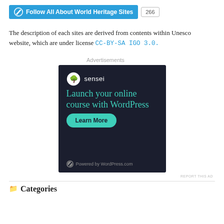[Figure (other): WordPress Follow button for 'All About World Heritage Sites' with follower count 266]
The description of each sites are derived from contents within Unesco website, which are under license CC-BY-SA IGO 3.0.
Advertisements
[Figure (screenshot): Sensei advertisement: 'Launch your online course with WordPress' with Learn More button and Powered by WordPress.com footer]
REPORT THIS AD
Categories